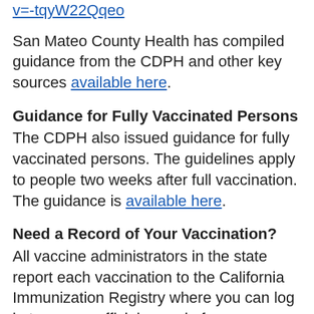v=-tqyW22Qqeo
San Mateo County Health has compiled guidance from the CDPH and other key sources available here.
Guidance for Fully Vaccinated Persons
The CDPH also issued guidance for fully vaccinated persons. The guidelines apply to people two weeks after full vaccination. The guidance is available here.
Need a Record of Your Vaccination?
All vaccine administrators in the state report each vaccination to the California Immunization Registry where you can log in to see an official record of your immunizations.
Visit the registry at smchealth.org/...